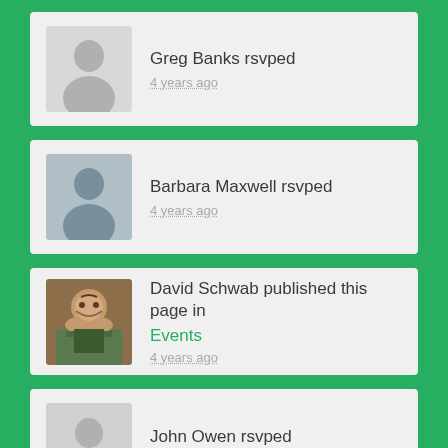Greg Banks rsvped
4 years ago
Barbara Maxwell rsvped
4 years ago
David Schwab published this page in Events
4 years ago
John Owen rsvped
4 years ago
George Prudent rsvped
4 years ago